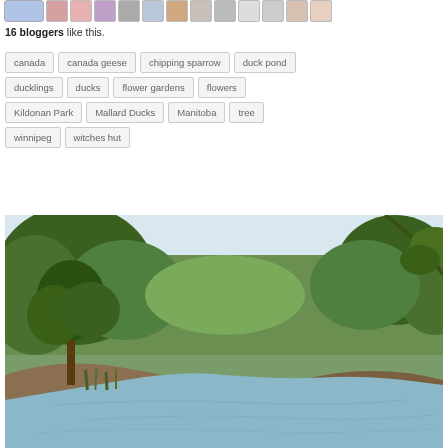16 bloggers like this.
canada
canada geese
chipping sparrow
duck pond
ducklings
ducks
flower gardens
flowers
Kildonan Park
Mallard Ducks
Manitoba
tree
winnipeg
witches hut
[Figure (photo): A scenic river or pond surrounded by lush green trees and vegetation, with calm water reflecting the sky and greenery. Natural outdoor park setting.]